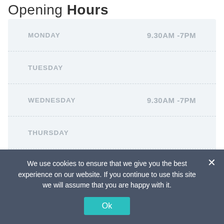Opening Hours
| Day | Hours |
| --- | --- |
| MONDAY | 9.30AM -7PM |
| TUESDAY |  |
| WEDNESDAY | 9.30AM -7PM |
| THURSDAY |  |
| FRIDAY |  |
| SATURDAY |  |
| SUNDAY |  |
We use cookies to ensure that we give you the best experience on our website. If you continue to use this site we will assume that you are happy with it.
Ok